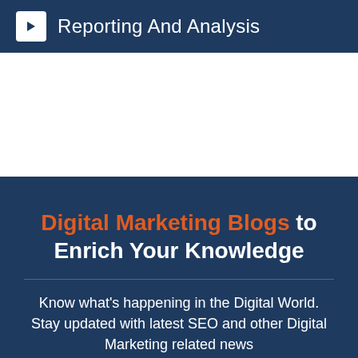Reporting And Analysis
Digital Marketing Blogs to Enrich Your Knowledge
Know what's happening in the Digital World. Stay updated with latest SEO and other Digital Marketing related news
Accept cookies
By continuing to browse the site, you are agreeing to our use of cookies as described in our Privacy policy.